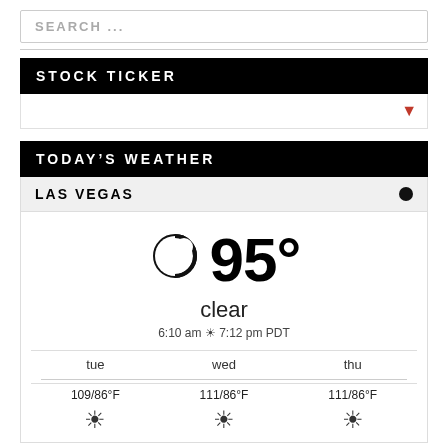SEARCH ...
STOCK TICKER
TODAY'S WEATHER
LAS VEGAS
95°
clear
6:10 am ☀ 7:12 pm PDT
| tue | wed | thu |
| --- | --- | --- |
| 109/86°F | 111/86°F | 111/86°F |